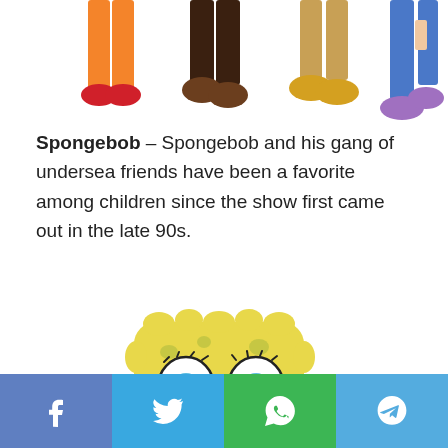[Figure (illustration): Partial view of cartoon characters' legs and feet — colorful animated style, showing various shoes and pants legs cropped at the top of the page.]
Spongebob – Spongebob and his gang of undersea friends have been a favorite among children since the show first came out in the late 90s.
[Figure (illustration): SpongeBob SquarePants cartoon character illustration — yellow sponge with big blue eyes, buck teeth, smiling, wearing a brown pants and red tie, white shirt collar visible, shown from torso up.]
Facebook  Twitter  WhatsApp  Telegram